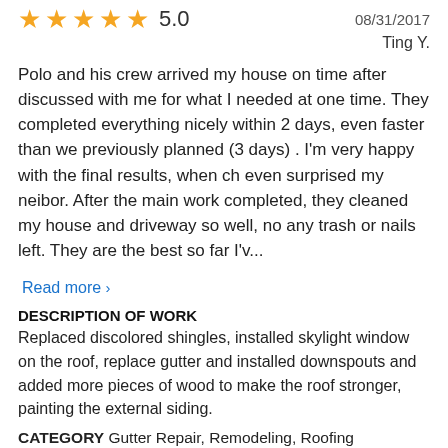★★★★★ 5.0   08/31/2017
Ting Y.
Polo and his crew arrived my house on time after discussed with me for what I needed at one time. They completed everything nicely within 2 days, even faster than we previously planned (3 days) . I'm very happy with the final results, when ch even surprised my neibor. After the main work completed, they cleaned my house and driveway so well, no any trash or nails left. They are the best so far I'v...
Read more >
DESCRIPTION OF WORK
Replaced discolored shingles, installed skylight window on the roof, replace gutter and installed downspouts and added more pieces of wood to make the roof stronger, painting the external siding.
CATEGORY Gutter Repair, Remodeling, Roofing